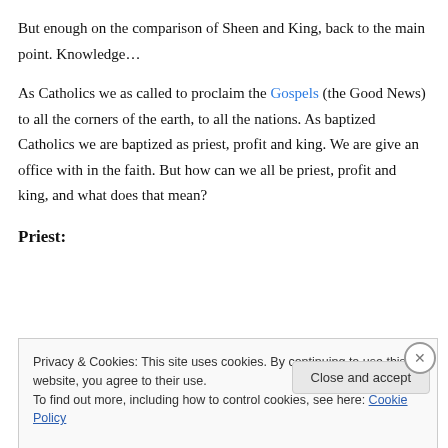But enough on the comparison of Sheen and King, back to the main point. Knowledge…
As Catholics we as called to proclaim the Gospels (the Good News) to all the corners of the earth, to all the nations. As baptized Catholics we are baptized as priest, profit and king. We are give an office with in the faith. But how can we all be priest, profit and king, and what does that mean?
Priest:
Privacy & Cookies: This site uses cookies. By continuing to use this website, you agree to their use.
To find out more, including how to control cookies, see here: Cookie Policy
Close and accept